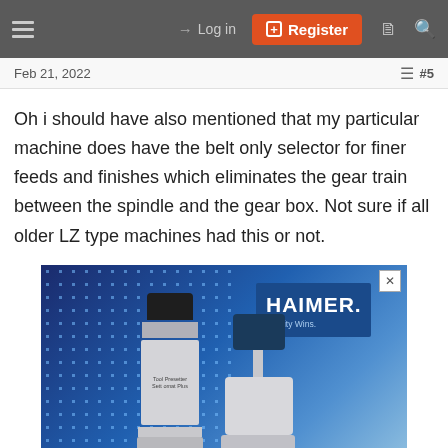Log in | Register
Feb 21, 2022  #5
Oh i should have also mentioned that my particular machine does have the belt only selector for finer feeds and finishes which eliminates the gear train between the spindle and the gear box. Not sure if all older LZ type machines had this or not.
[Figure (photo): Advertisement for HAIMER Tool Dynamic showing two white precision machining/toolsetting devices against a blue dotted background, with HAIMER logo and 'Quality Wins' tagline. Bottom blue banner reads 'HAIMER Tool Dynamic'.]